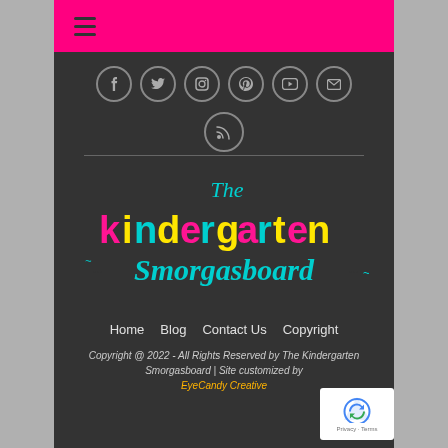≡ (hamburger menu)
[Figure (infographic): Social media icon circles: Facebook, Twitter, Instagram, Pinterest, YouTube, Email, RSS]
[Figure (logo): The Kindergarten Smorgasboard logo with colorful lettering on dark background]
Home  Blog  Contact Us  Copyright
Copyright @ 2022 - All Rights Reserved by The Kindergarten Smorgasboard | Site customized by EyeCandy Creative
[Figure (other): reCAPTCHA badge - Privacy Terms]